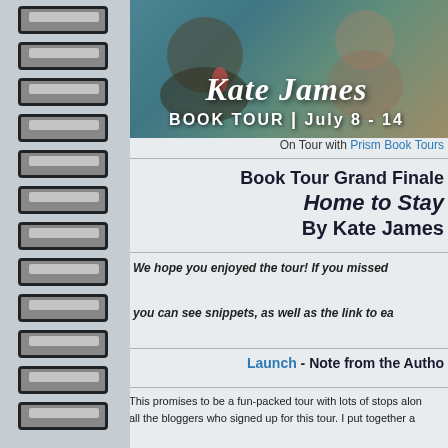[Figure (photo): Book tour banner for Kate James featuring a dog with people, text reads 'Kate James BOOK TOUR | July 8 - 14']
On Tour with Prism Book Tours
Book Tour Grand Finale
Home to Stay
By Kate James
We hope you enjoyed the tour! If you missed
you can see snippets, as well as the link to ea
Launch - Note from the Autho
This promises to be a fun-packed tour with lots of stops alon all the bloggers who signed up for this tour. I put together a